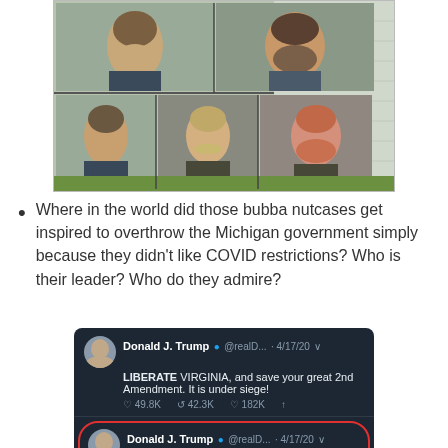[Figure (photo): Composite mugshot image showing five men's faces arranged in a 2+3 grid, with a house exterior visible in the background on the right side of the image.]
Where in the world did those bubba nutcases get inspired to overthrow the Michigan government simply because they didn't like COVID restrictions? Who is their leader? Who do they admire?
[Figure (screenshot): Screenshot of Twitter/X showing two tweets by Donald J. Trump (@realD...) dated 4/17/20. First tweet: 'LIBERATE VIRGINIA, and save your great 2nd Amendment. It is under siege!' with stats 49.8K, 42.3K, 182K. Second tweet (highlighted with red oval): 'LIBERATE MICHIGAN!' with stats 43.3K, 38.7K, 197K. Partial third tweet visible at bottom.]